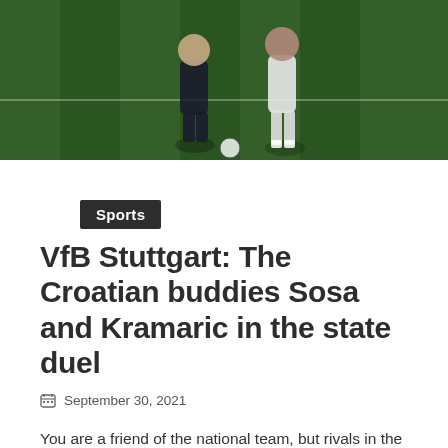[Figure (photo): Two soccer players in action on a grass field, one in dark kit and one in light/white kit, during a football match.]
Sports
VfB Stuttgart: The Croatian buddies Sosa and Kramaric in the state duel
September 30, 2021
You are a friend of the national team, but rivals in the Bundesliga: VfB defender Borna Sosa (23) and TSG striker Andrej Kramaric (30). For
Continue Reading